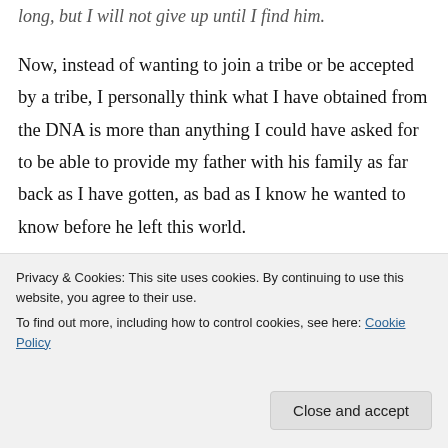long, but I will not give up until I find him.
Now, instead of wanting to join a tribe or be accepted by a tribe, I personally think what I have obtained from the DNA is more than anything I could have asked for to be able to provide my father with his family as far back as I have gotten, as bad as I know he wanted to know before he left this world.
Linda Snow Davis
↩ Reply
Privacy & Cookies: This site uses cookies. By continuing to use this website, you agree to their use.
To find out more, including how to control cookies, see here: Cookie Policy
Close and accept
to my eyes. It exemplifies why we all